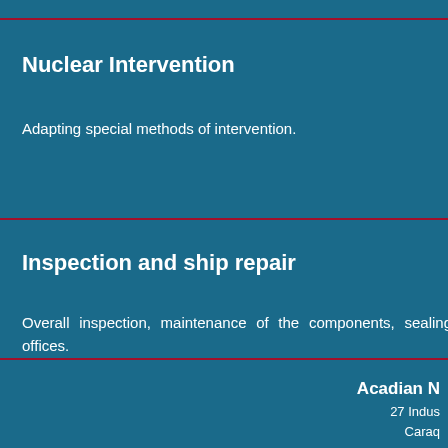Nuclear Intervention
Adapting special methods of intervention.
Inspection and ship repair
Overall inspection, maintenance of the components, sealing offices.
Acadian
27 Indus
Caraq
1 8
(5
info@ac